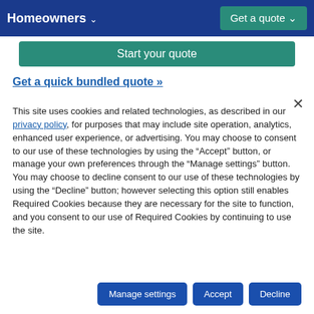Homeowners ∨   Get a quote ∨
Start your quote
Get a quick bundled quote »
Continue a saved quote »
This site uses cookies and related technologies, as described in our privacy policy, for purposes that may include site operation, analytics, enhanced user experience, or advertising. You may choose to consent to our use of these technologies by using the "Accept" button, or manage your own preferences through the "Manage settings" button. You may choose to decline consent to our use of these technologies by using the "Decline" button; however selecting this option still enables Required Cookies because they are necessary for the site to function, and you consent to our use of Required Cookies by continuing to use the site.
Manage settings   Accept   Decline